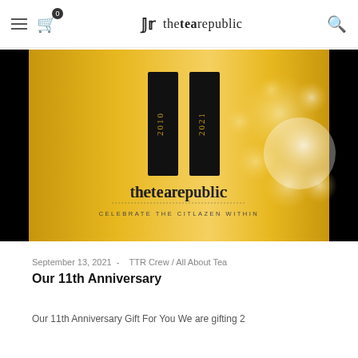thetearepublic — navigation header with hamburger menu, cart (0), logo, and search icon
[Figure (photo): 11th anniversary promotional banner for thetearepublic showing two black vertical bars labeled 2010 and 2021 on a gold bokeh background, with the thetearepublic logo and tagline 'CELEBRATE THE CITLAZEN WITHIN' below]
September 13, 2021 -   TTR Crew / All About Tea
Our 11th Anniversary
Our 11th Anniversary Gift For You We are gifting 2